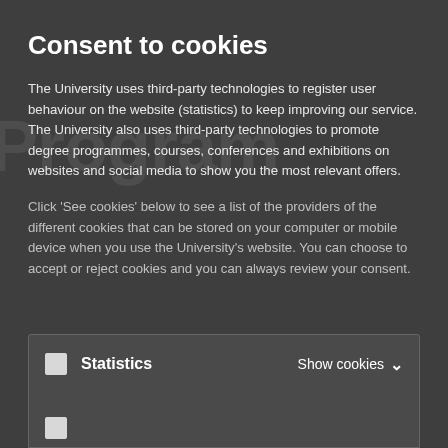Consent to cookies
The University uses third-party technologies to register user behaviour on the website (statistics) to keep improving our service. The University also uses third-party technologies to promote degree programmes, courses, conferences and exhibitions on websites and social media to show you the most relevant offers.
Click 'See cookies' below to see a list of the providers of the different cookies that can be stored on your computer or mobile device when you use the University's website. You can choose to accept or reject cookies and you can always review your consent
Statistics    Show cookies ∨